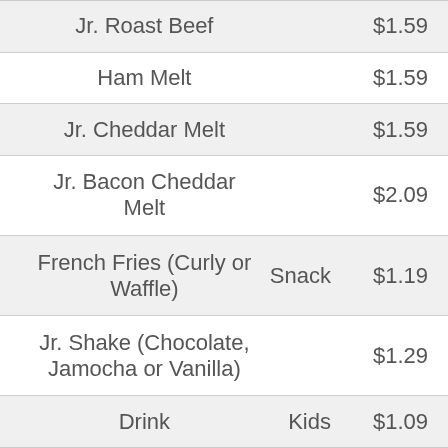| Item | Size | Price |
| --- | --- | --- |
| Jr. Roast Beef |  | $1.59 |
| Ham Melt |  | $1.59 |
| Jr. Cheddar Melt |  | $1.59 |
| Jr. Bacon Cheddar Melt |  | $2.09 |
| French Fries (Curly or Waffle) | Snack | $1.19 |
| Jr. Shake (Chocolate, Jamocha or Vanilla) |  | $1.29 |
| Drink | Kids | $1.09 |